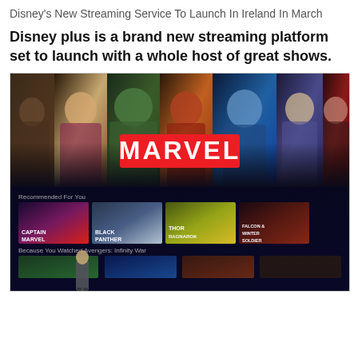Disney's New Streaming Service To Launch In Ireland In March
Disney plus is a brand new streaming platform set to launch with a whole host of great shows.
[Figure (photo): Screenshot of Disney+ streaming interface showing Marvel content. The top half features Marvel superhero characters (Captain Marvel, Hulk, Iron Man, Captain America, Thor, Black Widow and others). A large red MARVEL logo is overlaid in the center. Below are recommendation rows labeled 'Recommended For You' with thumbnails for Captain Marvel, Black Panther, Thor Ragnarok, and Falcon and the Winter Soldier. Another row reads 'Because You Watched Avengers: Infinity War'. A presenter in a suit stands in front of the large screen display.]